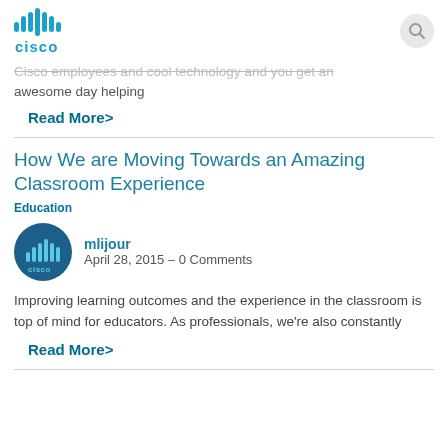Cisco logo and search icon
Cisco employees and cool technology and you get an awesome day helping
Read More >
How We are Moving Towards an Amazing Classroom Experience
Education
mlijour
April 28, 2015 - 0 Comments
Improving learning outcomes and the experience in the classroom is top of mind for educators. As professionals, we're also constantly
Read More >